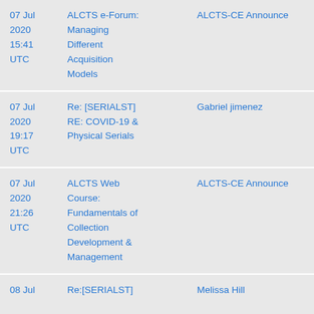| Date | Subject | Sender |
| --- | --- | --- |
| 07 Jul 2020 15:41 UTC | ALCTS e-Forum: Managing Different Acquisition Models | ALCTS-CE Announce |
| 07 Jul 2020 19:17 UTC | Re: [SERIALST] RE: COVID-19 & Physical Serials | Gabriel jimenez |
| 07 Jul 2020 21:26 UTC | ALCTS Web Course: Fundamentals of Collection Development & Management | ALCTS-CE Announce |
| 08 Jul ... | Re: [SERIALST]... | Melissa Hill... |